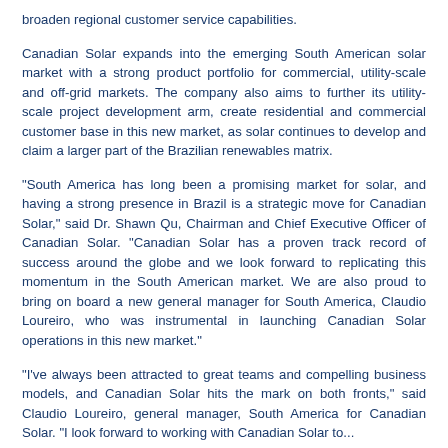broaden regional customer service capabilities.
Canadian Solar expands into the emerging South American solar market with a strong product portfolio for commercial, utility-scale and off-grid markets. The company also aims to further its utility-scale project development arm, create residential and commercial customer base in this new market, as solar continues to develop and claim a larger part of the Brazilian renewables matrix.
"South America has long been a promising market for solar, and having a strong presence in Brazil is a strategic move for Canadian Solar," said Dr. Shawn Qu, Chairman and Chief Executive Officer of Canadian Solar. "Canadian Solar has a proven track record of success around the globe and we look forward to replicating this momentum in the South American market. We are also proud to bring on board a new general manager for South America, Claudio Loureiro, who was instrumental in launching Canadian Solar operations in this new market."
"I've always been attracted to great teams and compelling business models, and Canadian Solar hits the mark on both fronts," said Claudio Loureiro, general manager, South America for Canadian Solar. "I look forward to working with Canadian Solar to..."